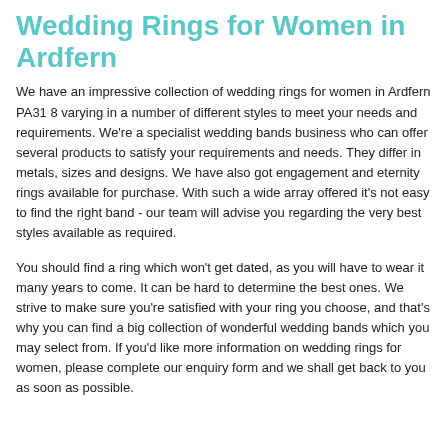Wedding Rings for Women in Ardfern
We have an impressive collection of wedding rings for women in Ardfern PA31 8 varying in a number of different styles to meet your needs and requirements. We're a specialist wedding bands business who can offer several products to satisfy your requirements and needs. They differ in metals, sizes and designs. We have also got engagement and eternity rings available for purchase. With such a wide array offered it's not easy to find the right band - our team will advise you regarding the very best styles available as required.
You should find a ring which won't get dated, as you will have to wear it many years to come. It can be hard to determine the best ones. We strive to make sure you're satisfied with your ring you choose, and that's why you can find a big collection of wonderful wedding bands which you may select from. If you'd like more information on wedding rings for women, please complete our enquiry form and we shall get back to you as soon as possible.